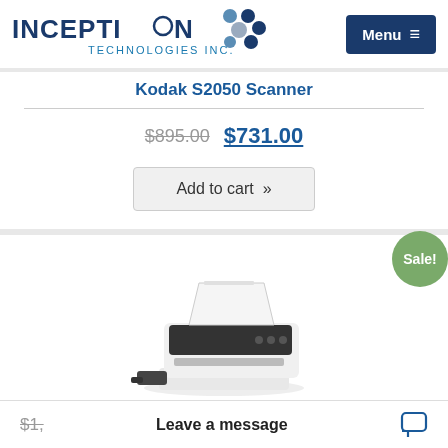[Figure (logo): Inception Technologies Inc. logo with dot grid icon]
Menu ≡
Kodak S2050 Scanner
$895.00  $731.00
Add to cart »
Sale!
[Figure (photo): Kodak S2060w document scanner, white/dark gray, with paper tray]
Kodak S2060w Scanner for Government
$1,
Leave a message